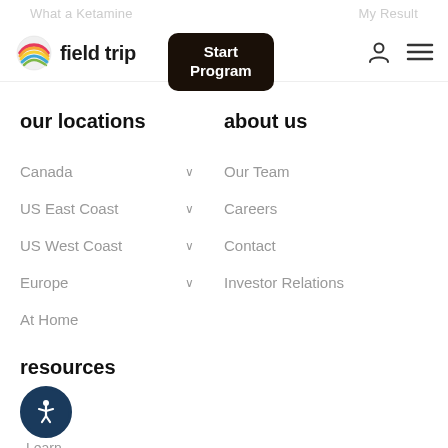field trip — navigation header with Start Program button
our locations
Canada
US East Coast
US West Coast
Europe
At Home
about us
Our Team
Careers
Contact
Investor Relations
resources
Learn